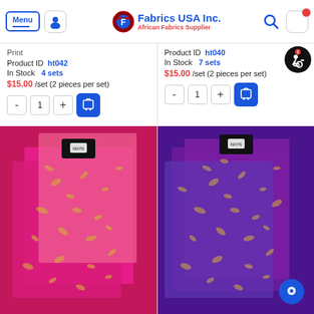Fabrics USA Inc. — African Fabrics Supplier
Print
Product ID  ht042
In Stock  4 sets
$15.00 /set (2 pieces per set)
Product ID  ht040
In Stock  7 sets
$15.00 /set (2 pieces per set)
[Figure (photo): Pink/magenta African fabric with gold floral print pattern, folded in two pieces]
[Figure (photo): Purple African fabric with gold floral print pattern, folded in two pieces]